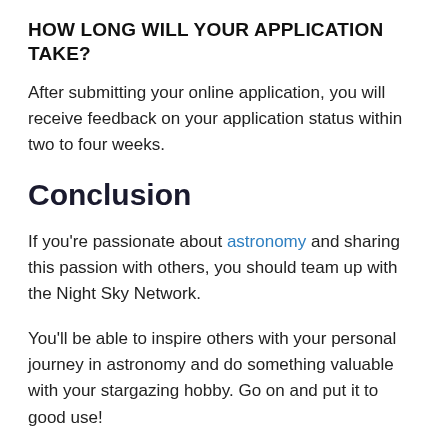HOW LONG WILL YOUR APPLICATION TAKE?
After submitting your online application, you will receive feedback on your application status within two to four weeks.
Conclusion
If you're passionate about astronomy and sharing this passion with others, you should team up with the Night Sky Network.
You'll be able to inspire others with your personal journey in astronomy and do something valuable with your stargazing hobby. Go on and put it to good use!
In this article, we've outlined everything you need to know